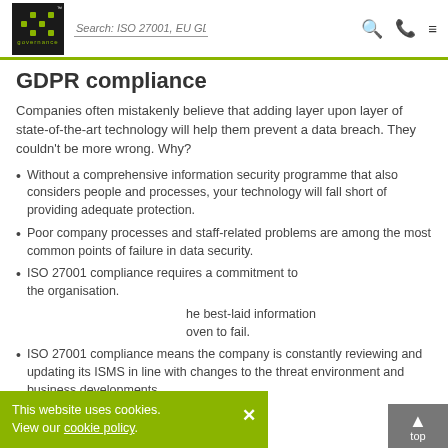IT Governance - Search: ISO 27001, EU GDPR...
GDPR compliance
Companies often mistakenly believe that adding layer upon layer of state-of-the-art technology will help them prevent a data breach. They couldn't be more wrong. Why?
Without a comprehensive information security programme that also considers people and processes, your technology will fall short of providing adequate protection.
Poor company processes and staff-related problems are among the most common points of failure in data security.
ISO 27001 compliance requires a commitment to the organisation.
he best-laid information oven to fail.
ISO 27001 compliance means the company is constantly reviewing and updating its ISMS in line with changes to the threat environment and business developments.